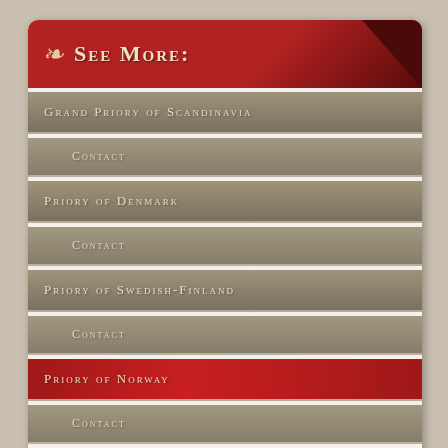SEE MORE:
GRAND PRIORY OF SCANDINAVIA
CONTACT
PRIORY OF DENMARK
CONTACT
PRIORY OF SWEDISH-FINLAND
CONTACT
PRIORY OF NORWAY
CONTACT
BAILLIVAT HALOGALAND
COMMANDERI NIDAROS
KOMMANDERI TUNSBERG
PRIORY OF SWEDEN